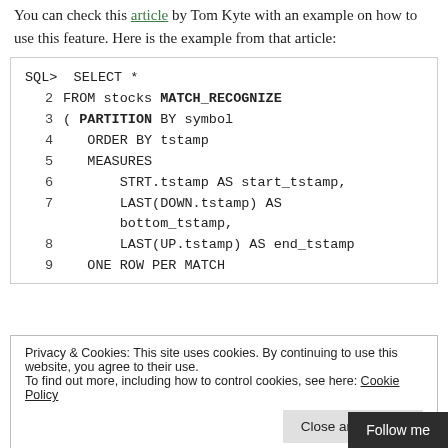You can check this article by Tom Kyte with an example on how to use this feature. Here is the example from that article:
SQL> SELECT *
  2   FROM stocks MATCH_RECOGNIZE
  3   ( PARTITION BY symbol
  4      ORDER BY tstamp
  5      MEASURES
  6           STRT.tstamp AS start_tstamp,
  7           LAST(DOWN.tstamp) AS
             bottom_tstamp,
  8           LAST(UP.tstamp) AS end_tstamp
  9      ONE ROW PER MATCH
Privacy & Cookies: This site uses cookies. By continuing to use this website, you agree to their use.
To find out more, including how to control cookies, see here: Cookie Policy
14      UP AS UP.price > PREV(UP.pric